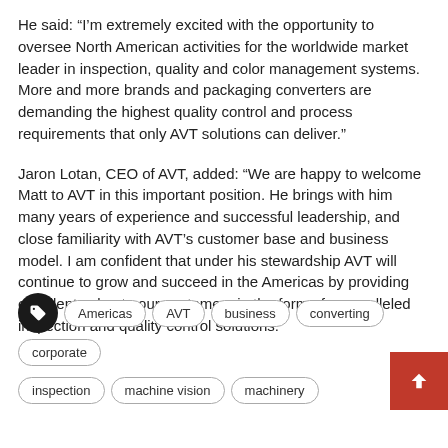He said: “I’m extremely excited with the opportunity to oversee North American activities for the worldwide market leader in inspection, quality and color management systems. More and more brands and packaging converters are demanding the highest quality control and process requirements that only AVT solutions can deliver.”
Jaron Lotan, CEO of AVT, added: “We are happy to welcome Matt to AVT in this important position. He brings with him many years of experience and successful leadership, and close familiarity with AVT’s customer base and business model. I am confident that under his stewardship AVT will continue to grow and succeed in the Americas by providing excellent value to our customers in the form of unparalleled inspection and quality control solutions.”
Americas
AVT
business
converting
corporate
inspection
machine vision
machinery